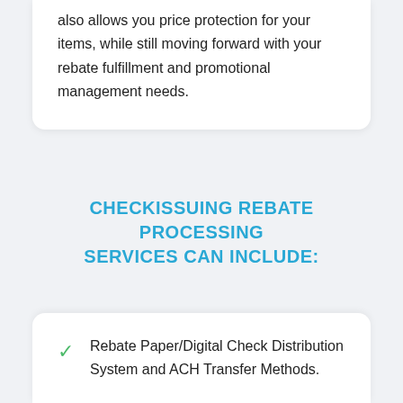also allows you price protection for your items, while still moving forward with your rebate fulfillment and promotional management needs.
CHECKISSUING REBATE PROCESSING SERVICES CAN INCLUDE:
Rebate Paper/Digital Check Distribution System and ACH Transfer Methods.